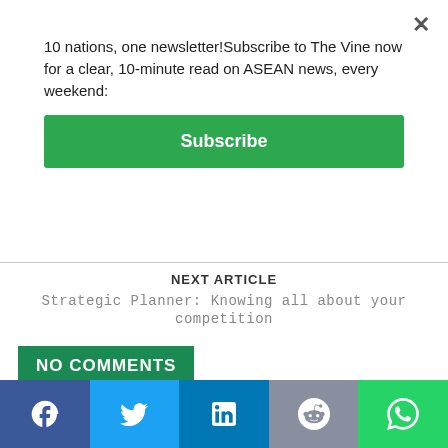10 nations, one newsletter!Subscribe to The Vine now for a clear, 10-minute read on ASEAN news, every weekend:
Subscribe
NEXT ARTICLE
Strategic Planner: Knowing all about your competition
NO COMMENTS
Leave a Reply
Comment:
[Figure (infographic): Social sharing bar with Facebook, Twitter, LinkedIn, Reddit, and WhatsApp icons]